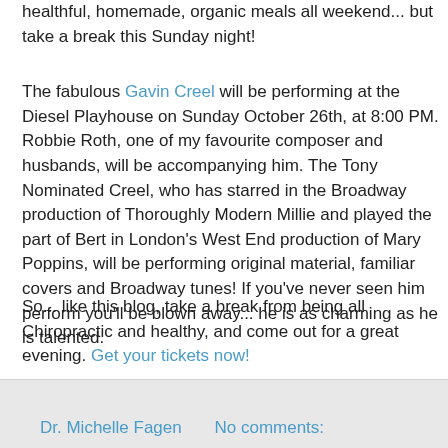healthful, homemade, organic meals all weekend... but take a break this Sunday night!
The fabulous Gavin Creel will be performing at the Diesel Playhouse on Sunday October 26th, at 8:00 PM. Robbie Roth, one of my favourite composer and husbands, will be accompanying him. The Tony Nominated Creel, who has starred in the Broadway production of Thoroughly Modern Millie and played the part of Bert in London's West End production of Mary Poppins, will be performing original material, familiar covers and Broadway tunes! If you've never seen him perform you'll be blown away... he is as charming as he is talented.
So... like this blog, take a break from being all Chiropractic and healthy, and come out for a great evening. Get your tickets now!
Hope to see you all there.
Dr. Michelle Fagen   No comments: